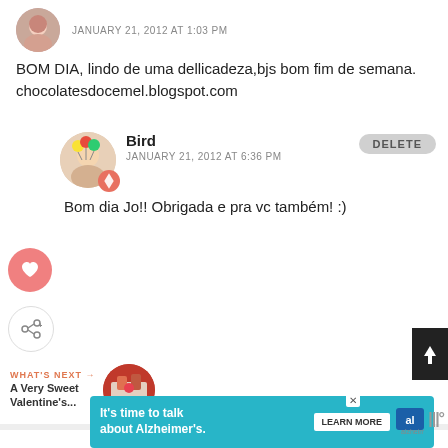JANUARY 21, 2012 AT 1:03 PM
BOM DIA, lindo de uma dellicadeza,bjs bom fim de semana.
chocolatesdocemel.blogspot.com
Bird
JANUARY 21, 2012 AT 6:36 PM
DELETE
Bom dia Jo!! Obrigada e pra vc também! :)
WHAT'S NEXT →
A Very Sweet Valentine's...
It's time to talk about Alzheimer's.
LEARN MORE